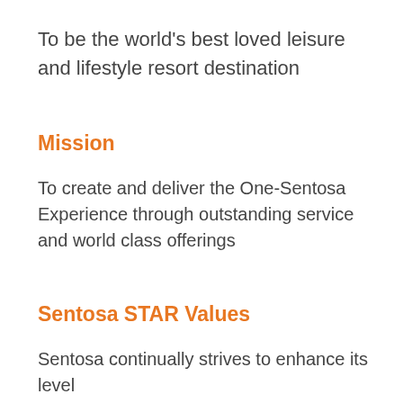To be the world's best loved leisure and lifestyle resort destination
Mission
To create and deliver the One-Sentosa Experience through outstanding service and world class offerings
Sentosa STAR Values
Sentosa continually strives to enhance its level